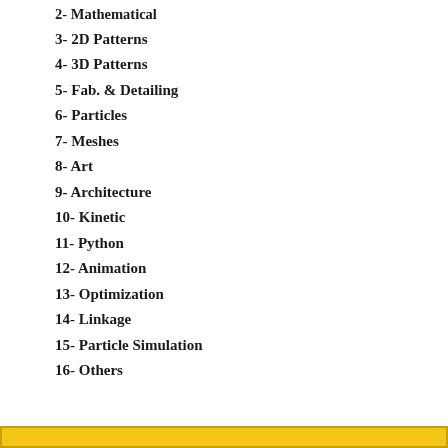2- Mathematical
3- 2D Patterns
4- 3D Patterns
5- Fab. & Detailing
6- Particles
7- Meshes
8- Art
9- Architecture
10- Kinetic
11- Python
12- Animation
13- Optimization
14- Linkage
15- Particle Simulation
16- Others
[Figure (other): Yellow/gold horizontal bar at the bottom of the page]